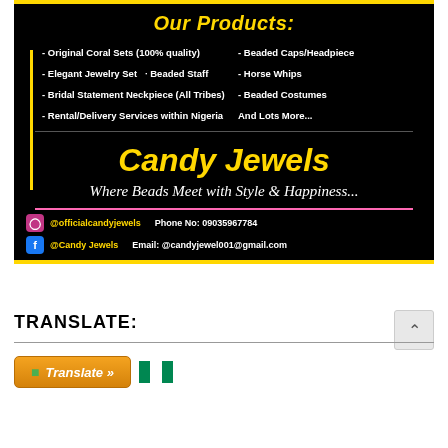[Figure (infographic): Candy Jewels advertisement on black background showing product list, brand name, tagline, and contact details]
TRANSLATE:
[Figure (screenshot): Translate button with orange background and Nigerian flag icon]